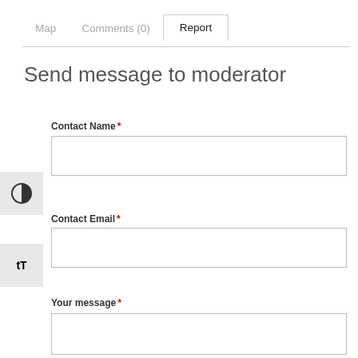Map   Comments (0)   Report
Send message to moderator
Contact Name *
Contact Email *
Your message *